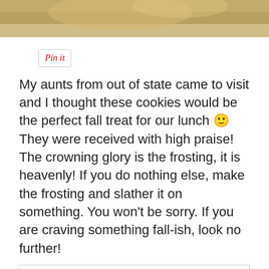[Figure (photo): Partial photo of a cookie or food item on a plate, cropped at top]
[Figure (other): Pin it button with red italic text inside a rounded rectangle border]
My aunts from out of state came to visit and I thought these cookies would be the perfect fall treat for our lunch 🙂 They were received with high praise! The crowning glory is the frosting, it is heavenly! If you do nothing else, make the frosting and slather it on something. You won't be sorry. If you are craving something fall-ish, look no further!
Privacy & Cookies: This site uses cookies. By continuing to use this website, you agree to their use.
To find out more, including how to control cookies, see here: Cookie Policy
Close and accept